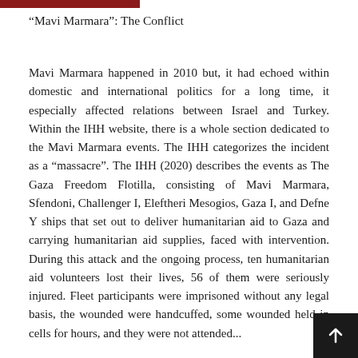“Mavi Marmara”: The Conflict
Mavi Marmara happened in 2010 but, it had echoed within domestic and international politics for a long time, it especially affected relations between Israel and Turkey. Within the IHH website, there is a whole section dedicated to the Mavi Marmara events. The IHH categorizes the incident as a “massacre”. The IHH (2020) describes the events as The Gaza Freedom Flotilla, consisting of Mavi Marmara, Sfendoni, Challenger I, Eleftheri Mesogios, Gaza I, and Defne Y ships that set out to deliver humanitarian aid to Gaza and carrying humanitarian aid supplies, faced with intervention. During this attack and the ongoing process, ten humanitarian aid volunteers lost their lives, 56 of them were seriously injured. Fleet participants were imprisoned without any legal basis, the wounded were handcuffed, some wounded held in cells for hours, and they were not attended...